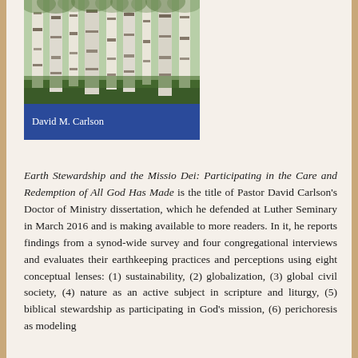[Figure (photo): Book cover showing a forest of birch trees with a blue band at the bottom displaying the author name David M. Carlson]
Earth Stewardship and the Missio Dei: Participating in the Care and Redemption of All God Has Made is the title of Pastor David Carlson's Doctor of Ministry dissertation, which he defended at Luther Seminary in March 2016 and is making available to more readers. In it, he reports findings from a synod-wide survey and four congregational interviews and evaluates their earthkeeping practices and perceptions using eight conceptual lenses: (1) sustainability, (2) globalization, (3) global civil society, (4) nature as an active subject in scripture and liturgy, (5) biblical stewardship as participating in God's mission, (6) perichoresis as modeling